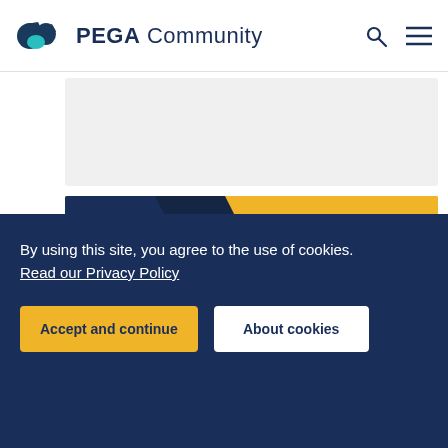PEGA Community
[Figure (screenshot): Yellow banner with dark navy triangle on the left side showing 'What's New in PEGA PLATFORM Conversational Channels']
READY TO CRUSH COMPLEXITY?
By using this site, you agree to the use of cookies.
Read our Privacy Policy
Accept and continue   About cookies